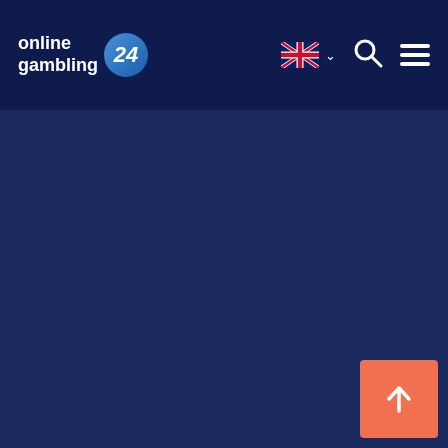online gambling 24 — navigation bar with UK flag language selector, search icon, and hamburger menu
[Figure (screenshot): Dark navy blue main content area, mostly empty background of a gambling website]